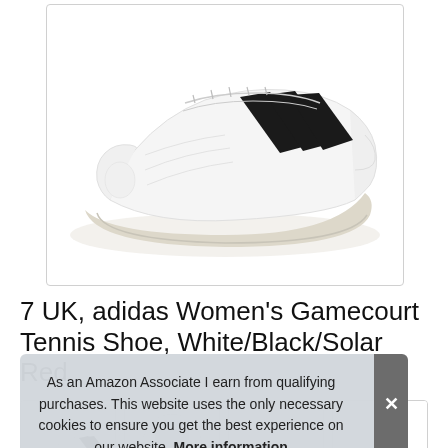[Figure (photo): White Adidas Gamecourt women's tennis shoe with three black diagonal stripes on the side, white sole, on a white background, shown at a three-quarter angle.]
7 UK, adidas Women's Gamecourt Tennis Shoe, White/Black/Solar Red
[Figure (photo): Thumbnail row of product images showing the shoe from different angles.]
As an Amazon Associate I earn from qualifying purchases. This website uses the only necessary cookies to ensure you get the best experience on our website. More information